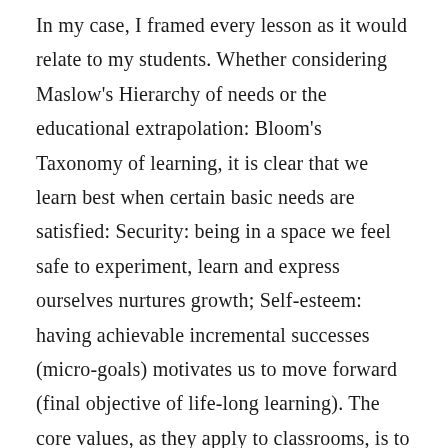In my case, I framed every lesson as it would relate to my students. Whether considering Maslow's Hierarchy of needs or the educational extrapolation: Bloom's Taxonomy of learning, it is clear that we learn best when certain basic needs are satisfied: Security: being in a space we feel safe to experiment, learn and express ourselves nurtures growth; Self-esteem: having achievable incremental successes (micro-goals) motivates us to move forward (final objective of life-long learning). The core values, as they apply to classrooms, is to create learning situations that empower the students to continuously learn more. Build their self-confidence and you contribute to self-determination.